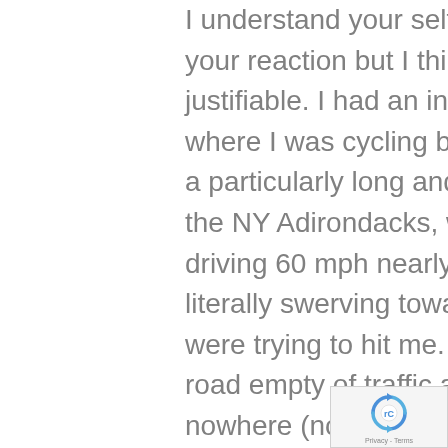I understand your self analysis over your reaction but I think it's totally justifiable. I had an instance years ago where I was cycling by myself, climbing a particularly long and arduous hill in the NY Adirondacks, when a pick up driving 60 mph nearly tagged me, literally swerving toward me as if they were trying to hit me. This was on a road empty of traffic and in the middle of nowhere (no homes or businesses in sight). I LOST it, waving my arms, cursing loudly and
[Figure (logo): reCAPTCHA badge with rotating arrows logo and 'Privacy - Terms' text]